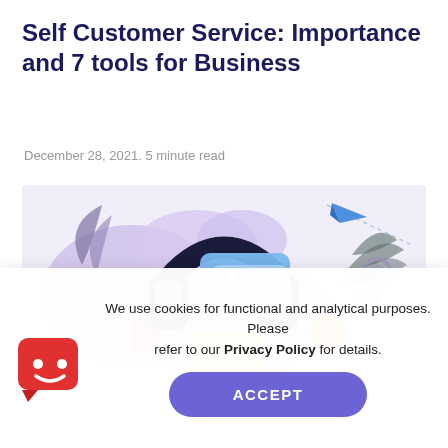Self Customer Service: Importance and 7 tools for Business
December 28, 2021. 5 minute read
[Figure (illustration): Colorful illustration of a customer service concept: large headphones over a tablet/screen with chat bubbles showing a profile card, surrounded by decorative plants, clouds, paper airplane, and gear icons in purple, pink, blue, and yellow tones on a light gray background.]
We use cookies for functional and analytical purposes. Please refer to our Privacy Policy for details.
[Figure (logo): Red speech bubble icon with a white smiley face — chatbot/cookie consent logo]
ACCEPT